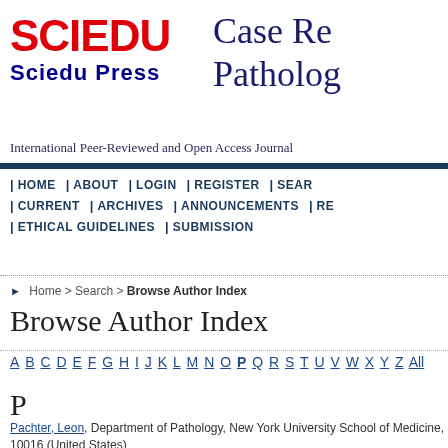[Figure (logo): SCIEDU red block logo with Sciedu Press text in blue]
Case Re Patholog
International Peer-Reviewed and Open Access Journal
| HOME | ABOUT | LOGIN | REGISTER | SEAR | CURRENT | ARCHIVES | ANNOUNCEMENTS | RE | ETHICAL GUIDELINES | SUBMISSION
Home > Search > Browse Author Index
Browse Author Index
A B C D E F G H I J K L M N O P Q R S T U V W X Y Z All
P
Pachter, Leon, Department of Pathology, New York University School of Medicine, 10016 (United States)